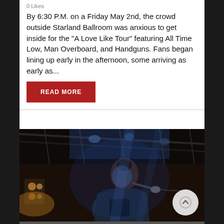By 6:30 P.M. on a Friday May 2nd, the crowd outside Starland Ballroom was anxious to get inside for the "A Love Like Tour" featuring All Time Low, Man Overboard, and Handguns. Fans began lining up early in the afternoon, some arriving as early as...
READ MORE
[Figure (photo): Concert photo of a male singer performing on stage with a microphone, viewed from a low angle, with stage lighting and rigging visible in the background. Blue-tinted lighting.]
APRIL 30, 2014